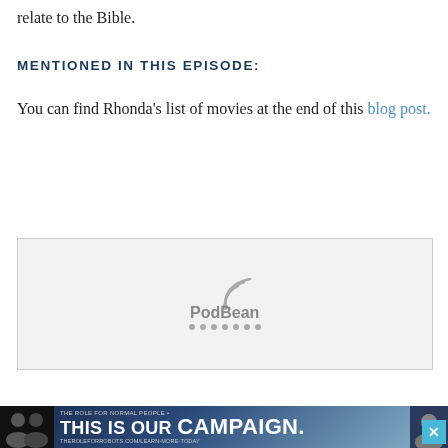relate to the Bible.
MENTIONED IN THIS EPISODE:
You can find Rhonda’s list of movies at the end of this blog post.
[Figure (logo): PodBean podcast player embed widget with loading dots]
[Figure (screenshot): Advertisement banner: THIS IS OUR CAMPAIGN. with figures on left and URL on right]